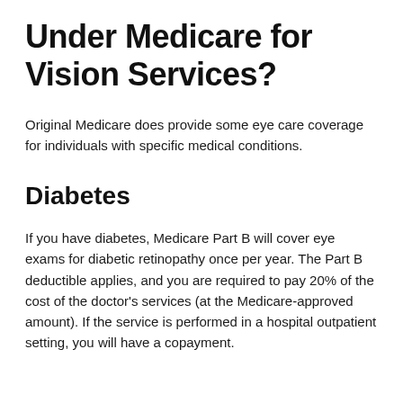Under Medicare for Vision Services?
Original Medicare does provide some eye care coverage for individuals with specific medical conditions.
Diabetes
If you have diabetes, Medicare Part B will cover eye exams for diabetic retinopathy once per year. The Part B deductible applies, and you are required to pay 20% of the cost of the doctor's services (at the Medicare-approved amount). If the service is performed in a hospital outpatient setting, you will have a copayment.